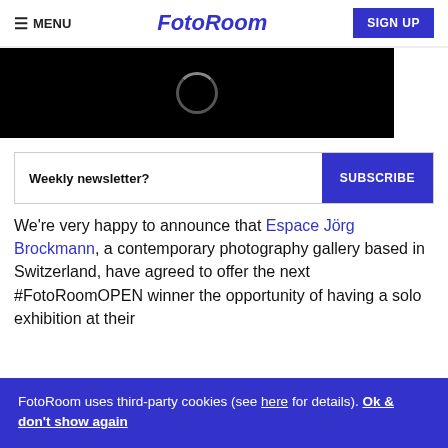≡ MENU | FotoRoom | SIGN UP
[Figure (photo): Black hero image area with a loading spinner ring in the center]
Weekly newsletter?  [SUBSCRIBE button]
We're very happy to announce that Espace Jörg Brockmann, a contemporary photography gallery based in Switzerland, have agreed to offer the next #FotoRoomOPEN winner the opportunity of having a solo exhibition at their
FotoRoom uses third-party cookies (see here for details). Ok & don't show again